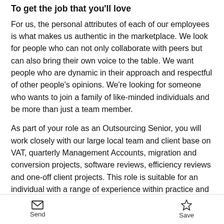To get the job that you'll love
For us, the personal attributes of each of our employees is what makes us authentic in the marketplace. We look for people who can not only collaborate with peers but can also bring their own voice to the table. We want people who are dynamic in their approach and respectful of other people's opinions. We're looking for someone who wants to join a family of like-minded individuals and be more than just a team member.
As part of your role as an Outsourcing Senior, you will work closely with our large local team and client base on VAT, quarterly Management Accounts, migration and conversion projects, software reviews, efficiency reviews and one-off client projects. This role is suitable for an individual with a range of experience within practice and an enthusiasm for cloud software and improving efficiencies. You must have excellent
Send   Save